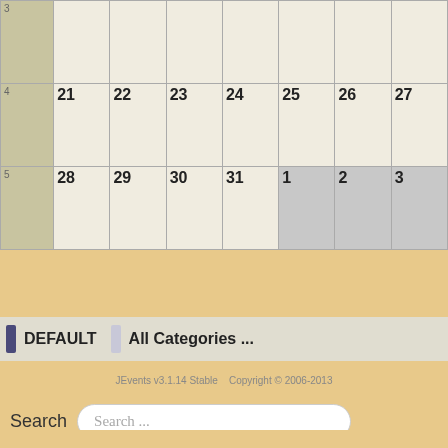| wk | 21 | 22 | 23 | 24 | 25 | 26 | 27 |
| --- | --- | --- | --- | --- | --- | --- | --- |
| 3 | 21 | 22 | 23 | 24 | 25 | 26 | 27 |
| 4 | 28 | 29 | 30 | 31 | 1 | 2 | 3 |
DEFAULT   All Categories ...
JEvents v3.1.14 Stable   Copyright © 2006-2013
Search  Search ...